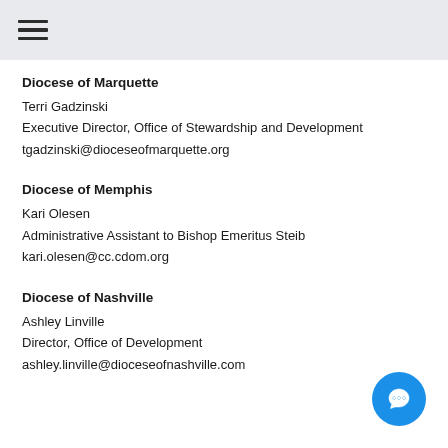☰ (hamburger menu icon)
Diocese of Marquette
Terri Gadzinski
Executive Director, Office of Stewardship and Development
tgadzinski@dioceseofmarquette.org
Diocese of Memphis
Kari Olesen
Administrative Assistant to Bishop Emeritus Steib
kari.olesen@cc.cdom.org
Diocese of Nashville
Ashley Linville
Director, Office of Development
ashley.linville@dioceseofnashville.com